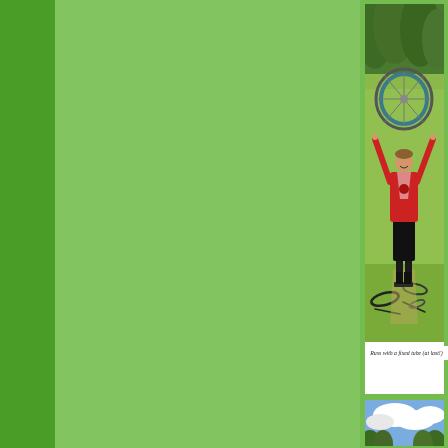[Figure (photo): A cyclist in a red jersey and black shorts standing outdoors holding a bicycle wheel above his head in triumph. Bicycle parts are scattered on the ground around him. Green trees and grassy field in background.]
Russ with a fixed tube (at last!)
[Figure (photo): Outdoor scene showing blue sky with white clouds and top of trees, partial view of second photo.]